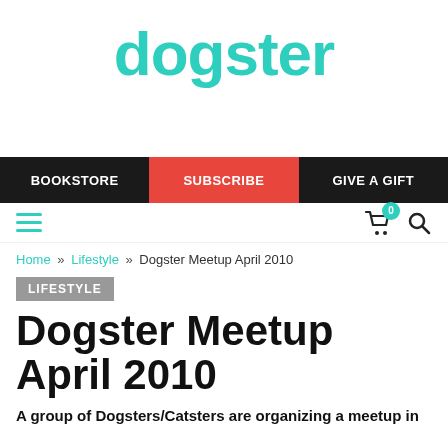dogster
[Figure (logo): Dogster website navigation bar with BOOKSTORE, SUBSCRIBE (red), GIVE A GIFT buttons]
Home » Lifestyle » Dogster Meetup April 2010
LIFESTYLE
Dogster Meetup April 2010
A group of Dogsters/Catsters are organizing a meetup in